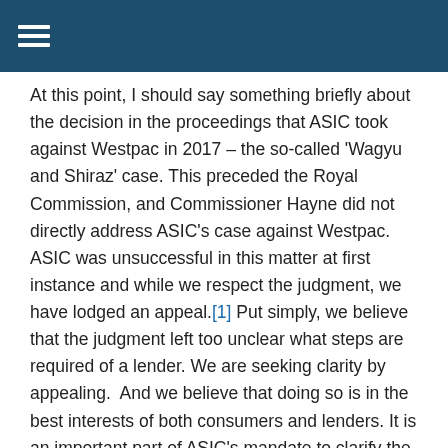At this point, I should say something briefly about the decision in the proceedings that ASIC took against Westpac in 2017 – the so-called 'Wagyu and Shiraz' case. This preceded the Royal Commission, and Commissioner Hayne did not directly address ASIC's case against Westpac. ASIC was unsuccessful in this matter at first instance and while we respect the judgment, we have lodged an appeal.[1] Put simply, we believe that the judgment left too unclear what steps are required of a lender. We are seeking clarity by appealing.  And we believe that doing so is in the best interests of both consumers and lenders. It is an important part of ASIC's mandate to clarify the law where there is uncertainty, and thereby support and guide industry to understand their obligations.
Notwithstanding our appeal in the Westpac case, and